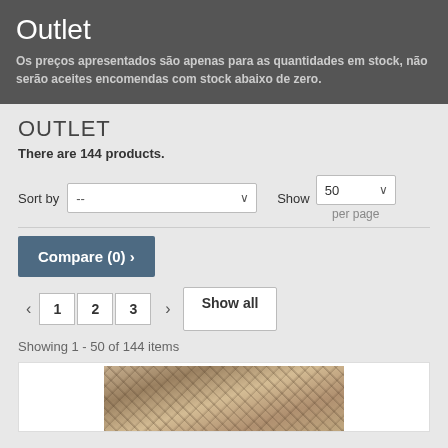Outlet
Os preços apresentados são apenas para as quantidades em stock, não serão aceites encomendas com stock abaixo de zero.
OUTLET
There are 144 products.
Sort by  --   Show  50  per page
Compare (0) ›
‹  1  2  3  ›  Show all
Showing 1 - 50 of 144 items
[Figure (photo): Product image showing vintage banknote or engraved illustration with decorative patterns]